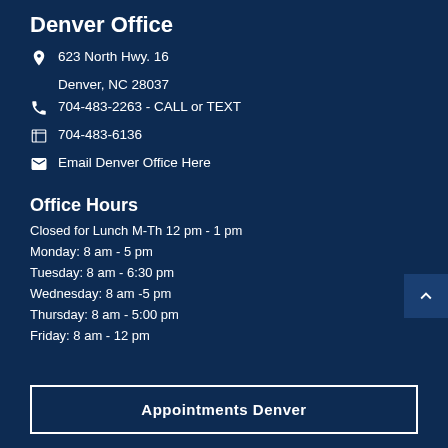Denver Office
623 North Hwy. 16
Denver, NC 28037
704-483-2263 - CALL or TEXT
704-483-6136
Email Denver Office Here
Office Hours
Closed for Lunch M-Th 12 pm - 1 pm
Monday: 8 am - 5 pm
Tuesday: 8 am - 6:30 pm
Wednesday: 8 am -5 pm
Thursday: 8 am - 5:00 pm
Friday: 8 am - 12 pm
Appointments Denver